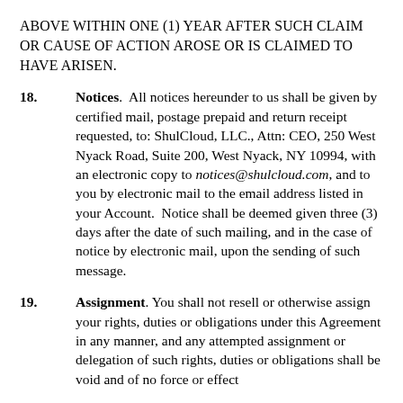ABOVE WITHIN ONE (1) YEAR AFTER SUCH CLAIM OR CAUSE OF ACTION AROSE OR IS CLAIMED TO HAVE ARISEN.
18.  Notices.  All notices hereunder to us shall be given by certified mail, postage prepaid and return receipt requested, to: ShulCloud, LLC., Attn: CEO, 250 West Nyack Road, Suite 200, West Nyack, NY 10994, with an electronic copy to notices@shulcloud.com, and to you by electronic mail to the email address listed in your Account.  Notice shall be deemed given three (3) days after the date of such mailing, and in the case of notice by electronic mail, upon the sending of such message.
19.  Assignment. You shall not resell or otherwise assign your rights, duties or obligations under this Agreement in any manner, and any attempted assignment or delegation of such rights, duties or obligations shall be void and of no force or effect